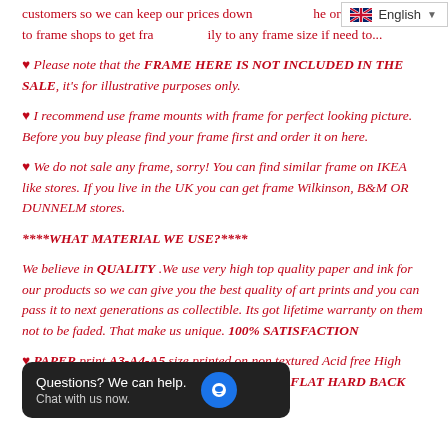customers so we can keep our prices down. The frame or you can take it to frame shops to get framed easily to any frame size if need to...
♥ Please note that the FRAME HERE IS NOT INCLUDED IN THE SALE, it's for illustrative purposes only.
♥ I recommend use frame mounts with frame for perfect looking picture. Before you buy please find your frame first and order it on here.
♥ We do not sale any frame, sorry! You can find similar frame on IKEA like stores. If you live in the UK you can get frame Wilkinson, B&M OR DUNNELM stores.
****WHAT MATERIAL WE USE?****
We believe in QUALITY .We use very high top quality paper and ink for our products so we can give you the best quality of art prints and you can pass it to next generations as collectible. Its got lifetime warranty on them not to be faded. That make us unique. 100% SATISFACTION
♥ PAPER print A3-A4-A5 size printed on non textured Acid free High Quality thick mat paper. A5 and A4 size comes in FLAT HARD BACK